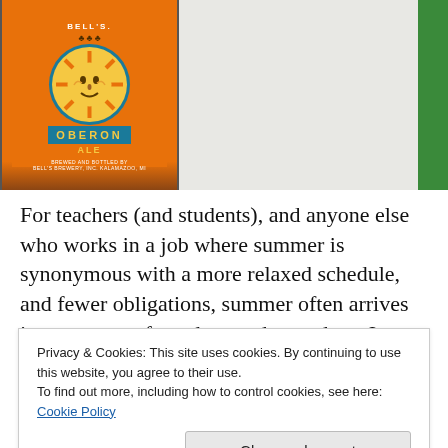[Figure (photo): Photo of an Oberon Ale beer bottle with orange label featuring a sun face design, next to a white surface with a green item partially visible on the right edge.]
For teachers (and students), and anyone else who works in a job where summer is synonymous with a more relaxed schedule, and fewer obligations, summer often arrives just as we are frayed around our edges. In those
Privacy & Cookies: This site uses cookies. By continuing to use this website, you agree to their use.
To find out more, including how to control cookies, see here: Cookie Policy
energies for the next school year — which seems miles